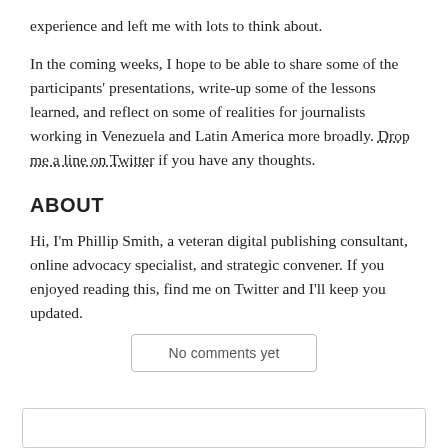experience and left me with lots to think about.
In the coming weeks, I hope to be able to share some of the participants' presentations, write-up some of the lessons learned, and reflect on some of realities for journalists working in Venezuela and Latin America more broadly. Drop me a line on Twitter if you have any thoughts.
ABOUT
Hi, I'm Phillip Smith, a veteran digital publishing consultant, online advocacy specialist, and strategic convener. If you enjoyed reading this, find me on Twitter and I'll keep you updated.
No comments yet